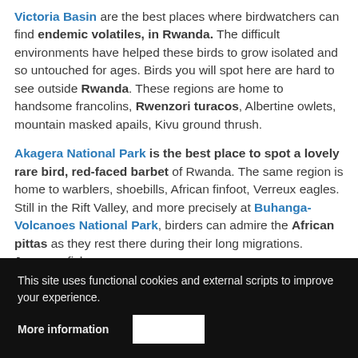Victoria Basin are the best places where birdwatchers can find endemic volatiles, in Rwanda. The difficult environments have helped these birds to grow isolated and so untouched for ages. Birds you will spot here are hard to see outside Rwanda. These regions are home to handsome francolins, Rwenzori turacos, Albertine owlets, mountain masked apails, Kivu ground thrush.
Akagera National Park is the best place to spot a lovely rare bird, red-faced barbet of Rwanda. The same region is home to warblers, shoebills, African finfoot, Verreux eagles. Still in the Rift Valley, and more precisely at Buhanga- Volcanoes National Park, birders can admire the African pittas as they rest there during their long migrations. Jacanas, fish
This site uses functional cookies and external scripts to improve your experience.
More information